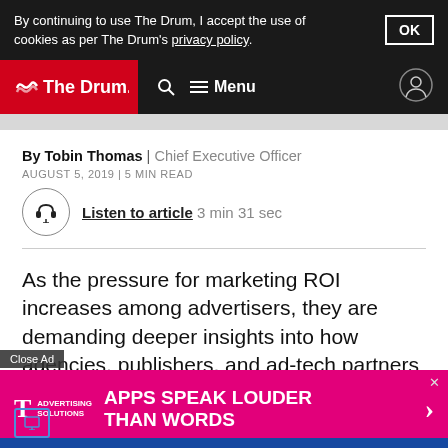By continuing to use The Drum, I accept the use of cookies as per The Drum's privacy policy.
[Figure (screenshot): The Drum navigation bar with red logo, search icon, hamburger menu, and user icon on dark background]
By Tobin Thomas | Chief Executive Officer
AUGUST 5, 2019 | 5 MIN READ
Listen to article  3 min 31 sec
As the pressure for marketing ROI increases among advertisers, they are demanding deeper insights into how agencies, publishers, and ad-tech partners spend on their behalf.
[Figure (screenshot): T-Mobile Advertising Solutions banner ad: APPS SPEAK LOUDER THAN WORDS on magenta background]